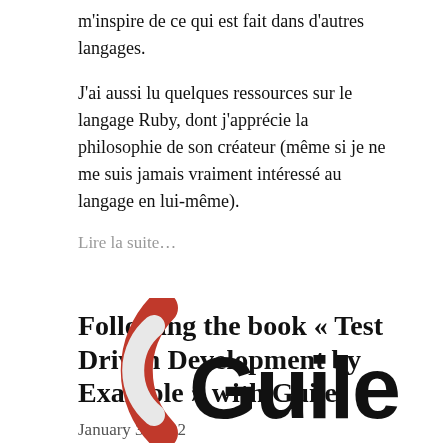m'inspire de ce qui est fait dans d'autres langages.
J'ai aussi lu quelques ressources sur le langage Ruby, dont j'apprécie la philosophie de son créateur (même si je ne me suis jamais vraiment intéressé au langage en lui-même).
Lire la suite...
Following the book « Test Driven Development by Example » with Guile
January 3, 2022
[Figure (logo): Guile programming language logo: a red arc/parenthesis shape on the left with a white arc cutout, followed by bold black text 'Guile']